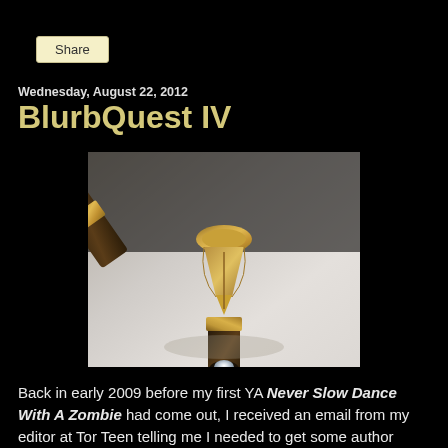Share
Wednesday, August 22, 2012
BlurbQuest IV
[Figure (photo): Close-up photograph of a fountain pen nib with gold metallic parts against a light grey background]
Back in early 2009 before my first YA Never Slow Dance With A Zombie had come out, I received an email from my editor at Tor Teen telling me I needed to get some author blurbs for the book.  You know those blurbs you see on book